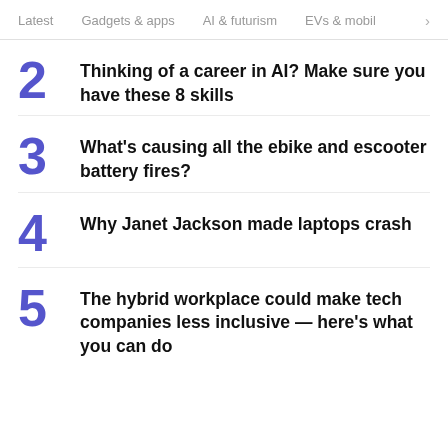Latest   Gadgets & apps   AI & futurism   EVs & mobil  >
2  Thinking of a career in AI? Make sure you have these 8 skills
3  What's causing all the ebike and escooter battery fires?
4  Why Janet Jackson made laptops crash
5  The hybrid workplace could make tech companies less inclusive — here's what you can do